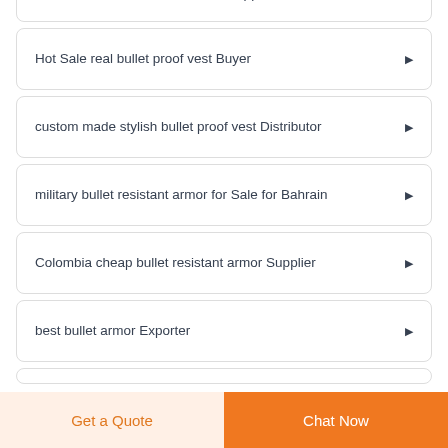South Africa hot sale bullet vest Supplier
Hot Sale real bullet proof vest Buyer
custom made stylish bullet proof vest Distributor
military bullet resistant armor for Sale for Bahrain
Colombia cheap bullet resistant armor Supplier
best bullet armor Exporter
(partial card)
Get a Quote  Chat Now